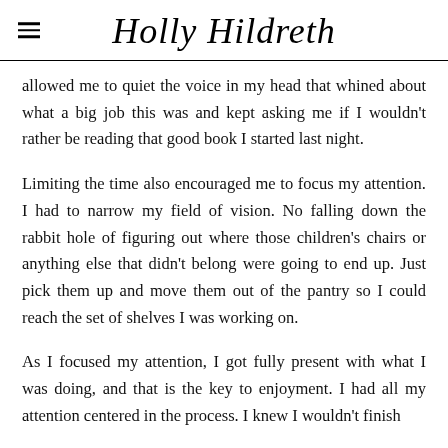Holly Hildreth
allowed me to quiet the voice in my head that whined about what a big job this was and kept asking me if I wouldn't rather be reading that good book I started last night.
Limiting the time also encouraged me to focus my attention. I had to narrow my field of vision. No falling down the rabbit hole of figuring out where those children's chairs or anything else that didn't belong were going to end up. Just pick them up and move them out of the pantry so I could reach the set of shelves I was working on.
As I focused my attention, I got fully present with what I was doing, and that is the key to enjoyment. I had all my attention centered in the process. I knew I wouldn't finish